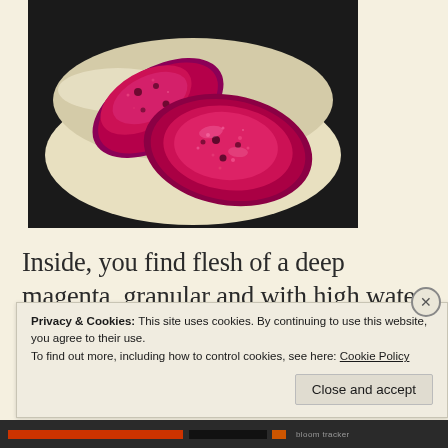[Figure (photo): Photo of two halves of a deep magenta/red fruit (likely a prickly pear or similar) with granular flesh, placed in a white/cream bowl on a dark background.]
Inside, you find flesh of a deep magenta, granular and with high water content. The
Privacy & Cookies: This site uses cookies. By continuing to use this website, you agree to their use.
To find out more, including how to control cookies, see here: Cookie Policy
Close and accept